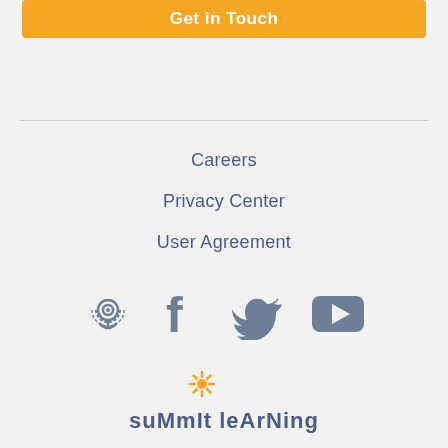Get in Touch
Careers
Privacy Center
User Agreement
[Figure (illustration): Social media icons: podcast, Facebook, Twitter, YouTube]
[Figure (logo): Summit Learning logo with sun/asterisk icon and stylized text 'suMmIt leArNing']